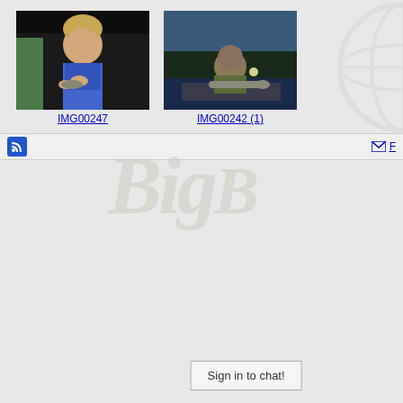[Figure (photo): Child holding a small fish, dark background indoors]
IMG00247
[Figure (photo): Person on a boat at dusk holding a large fish, river with trees in background]
IMG00242 (1)
[Figure (logo): BigB watermark logo in light gray italic text]
Sign in to chat!